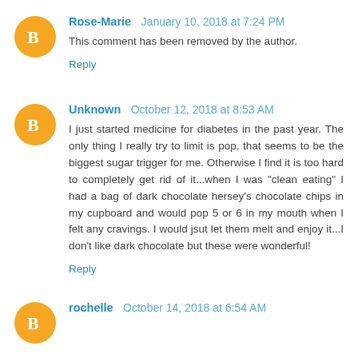Rose-Marie  January 10, 2018 at 7:24 PM
This comment has been removed by the author.
Reply
Unknown  October 12, 2018 at 8:53 AM
I just started medicine for diabetes in the past year. The only thing I really try to limit is pop, that seems to be the biggest sugar trigger for me. Otherwise I find it is too hard to completely get rid of it...when I was "clean eating" I had a bag of dark chocolate hersey's chocolate chips in my cupboard and would pop 5 or 6 in my mouth when I felt any cravings. I would jsut let them melt and enjoy it...I don't like dark chocolate but these were wonderful!
Reply
rochelle  October 14, 2018 at 6:54 AM